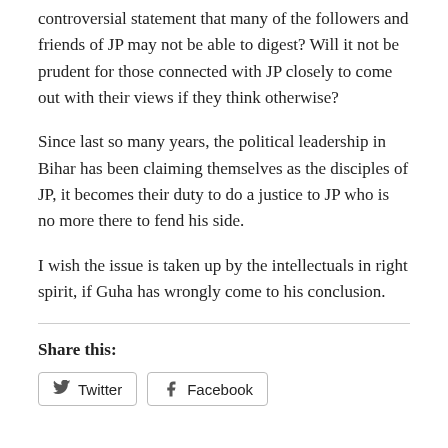controversial statement that many of the followers and friends of JP may not be able to digest? Will it not be prudent for those connected with JP closely to come out with their views if they think otherwise?
Since last so many years, the political leadership in Bihar has been claiming themselves as the disciples of JP, it becomes their duty to do a justice to JP who is no more there to fend his side.
I wish the issue is taken up by the intellectuals in right spirit, if Guha has wrongly come to his conclusion.
Share this:
Twitter   Facebook